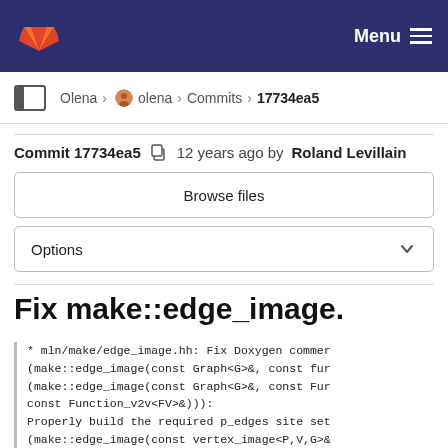Menu
Olena > olena > Commits > 17734ea5
Commit 17734ea5  12 years ago by Roland Levillain
Browse files
Options
Fix make::edge_image.
* mln/make/edge_image.hh: Fix Doxygen commer
(make::edge_image(const Graph<G>&, const fur
(make::edge_image(const Graph<G>&, const Fur
const Function_v2v<FV>&))):
Properly build the required p_edges site set
(make::edge_image(const vertex_image<P,V,G>&
Actually use the predicate passed as second
Remove_debug_code.